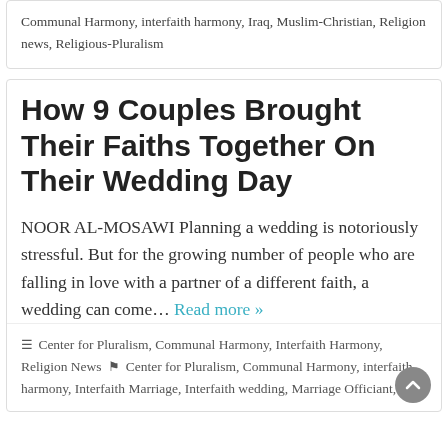Communal Harmony, interfaith harmony, Iraq, Muslim-Christian, Religion news, Religious-Pluralism
How 9 Couples Brought Their Faiths Together On Their Wedding Day
NOOR AL-MOSAWI Planning a wedding is notoriously stressful. But for the growing number of people who are falling in love with a partner of a different faith, a wedding can come... Read more »
Center for Pluralism, Communal Harmony, Interfaith Harmony, Religion News  Center for Pluralism, Communal Harmony, interfaith harmony, Interfaith Marriage, Interfaith wedding, Marriage Officiant,